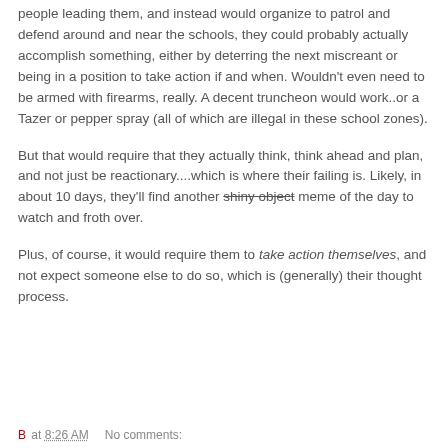people leading them, and instead would organize to patrol and defend around and near the schools, they could probably actually accomplish something, either by deterring the next miscreant or being in a position to take action if and when. Wouldn't even need to be armed with firearms, really. A decent truncheon would work..or a Tazer or pepper spray (all of which are illegal in these school zones).
But that would require that they actually think, think ahead and plan, and not just be reactionary....which is where their failing is. Likely, in about 10 days, they'll find another shiny object meme of the day to watch and froth over.
Plus, of course, it would require them to take action themselves, and not expect someone else to do so, which is (generally) their thought process.
B at 8:26 AM    No comments: